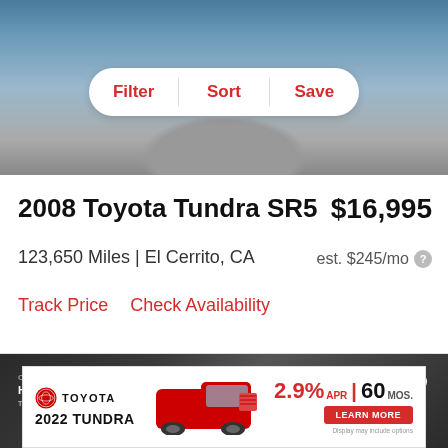[Figure (photo): Top portion of a truck/SUV vehicle, blue-gray color, viewed from front, partial grille and hood visible]
Filter  |  Sort  |  Save
2008 Toyota Tundra SR5
$16,995
123,650 Miles | El Cerrito, CA
est. $245/mo
Track Price    Check Availability
[Figure (photo): Dark blue/black Toyota Tundra truck parked at a dealership, front 3/4 view, Toyota logo and grille visible, showroom in background with signage reading HAS ARRIVED THE ALL-NEW 2022 NA, heart/save icon in top right]
[Figure (photo): Toyota advertisement banner: TOYOTA 2022 TUNDRA, red truck image, 2.9% APR 60 MOS, LEARN MORE button, Display may include options disclaimer]